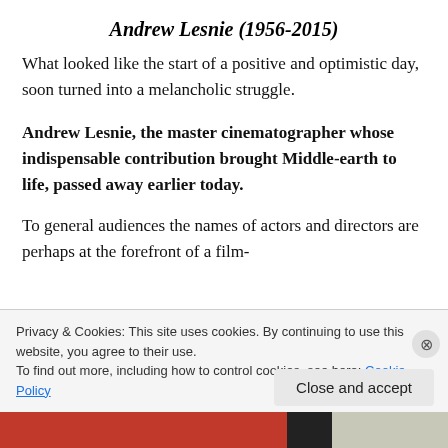Andrew Lesnie (1956-2015)
What looked like the start of a positive and optimistic day, soon turned into a melancholic struggle.
Andrew Lesnie, the master cinematographer whose indispensable contribution brought Middle-earth to life, passed away earlier today.
To general audiences the names of actors and directors are perhaps at the forefront of a film-
Privacy & Cookies: This site uses cookies. By continuing to use this website, you agree to their use.
To find out more, including how to control cookies, see here: Cookie Policy
Close and accept